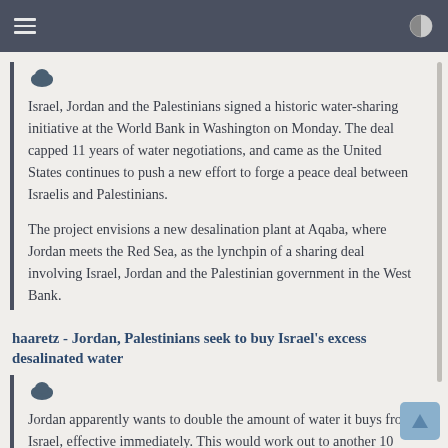Israel, Jordan and the Palestinians signed a historic water-sharing initiative at the World Bank in Washington on Monday. The deal capped 11 years of water negotiations, and came as the United States continues to push a new effort to forge a peace deal between Israelis and Palestinians.

The project envisions a new desalination plant at Aqaba, where Jordan meets the Red Sea, as the lynchpin of a sharing deal involving Israel, Jordan and the Palestinian government in the West Bank.
haaretz - Jordan, Palestinians seek to buy Israel's excess desalinated water
Jordan apparently wants to double the amount of water it buys from Israel, effective immediately. This would work out to another 10 million to 20 million cubic meters of